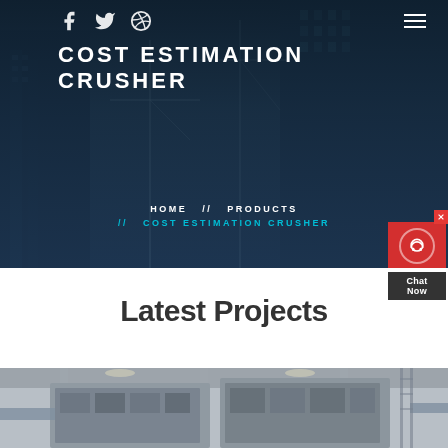[Figure (photo): Hero banner with construction site background showing buildings under construction with cranes, dark blue overlay]
COST ESTIMATION CRUSHER
HOME // PRODUCTS // COST ESTIMATION CRUSHER
Latest Projects
[Figure (photo): Industrial crusher machinery photographed from above in a warehouse/factory setting]